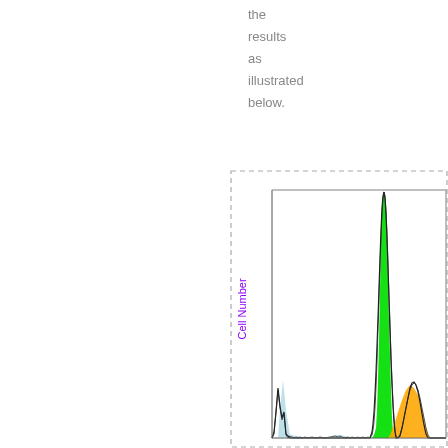the results as illustrated below.
[Figure (continuous-plot): Flow cytometry cell cycle analysis plot showing Cell Number (y-axis, purple label) vs DNA content (x-axis). The plot contains multiple overlapping distributions: a light blue/grey shaded region (G1 phase), a tall sharp green peak (S phase or G2/M), and an orange filled region (another cell cycle phase). A dashed rectangular border frames the figure region. The plot shows a small peak on the left, a flat trough region, and then a tall narrow green spike followed by a rising orange broad peak on the right side.]